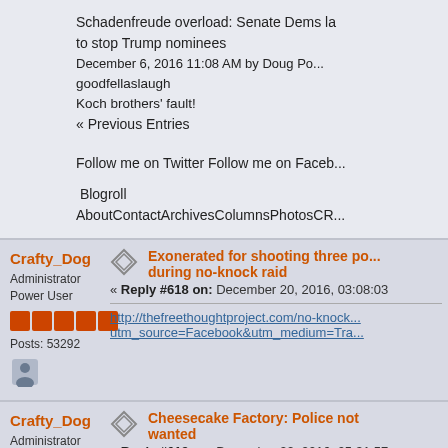Schadenfreude overload: Senate Dems la... to stop Trump nominees
December 6, 2016 11:08 AM by Doug Po...
goodfellaslaugh
Koch brothers' fault!
« Previous Entries
Follow me on Twitter Follow me on Faceb...
Blogroll
AboutContactArchivesColumnsPhotosCR...
Crafty_Dog
Administrator
Power User
Posts: 53292
Exonerated for shooting three po... during no-knock raid
« Reply #618 on: December 20, 2016, 03:08:03
http://thefreethoughtproject.com/no-knock... utm_source=Facebook&utm_medium=Tra...
Crafty_Dog
Administrator
Cheesecake Factory: Police not wanted
« Reply #619 on: December 22, 2016, 05:31:57